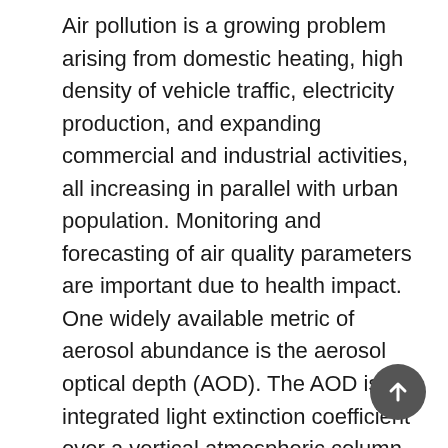Air pollution is a growing problem arising from domestic heating, high density of vehicle traffic, electricity production, and expanding commercial and industrial activities, all increasing in parallel with urban population. Monitoring and forecasting of air quality parameters are important due to health impact. One widely available metric of aerosol abundance is the aerosol optical depth (AOD). The AOD is the integrated light extinction coefficient over a vertical atmospheric column of unit cross section, which represents the extent to which the aerosols in that vertical profile prevent the transmission of light by absorption or scattering. Seasonal aerosol optical depth (AOD) values at 550 nm derived from the Moderate Resolution Imaging Spectroradiometer (MODIS) sensor onboard NASA's Terra satellites, for the 10 years period of 2000-2010 were used to test 7 different methods and the results in the...